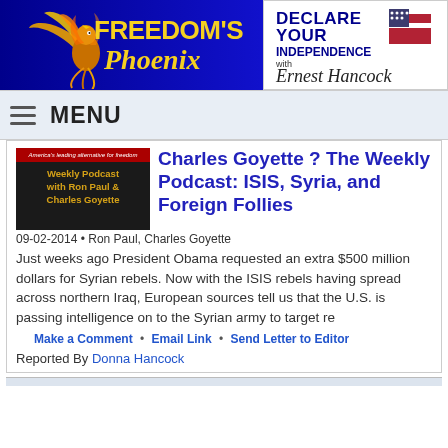[Figure (logo): Freedom's Phoenix logo — golden phoenix bird over blue background with gold text]
[Figure (logo): Declare Your Independence with Ernest Hancock logo — blue bold text with US flag graphic and signature]
MENU
[Figure (photo): Thumbnail for Weekly Podcast with Ron Paul & Charles Goyette]
Charles Goyette ? The Weekly Podcast: ISIS, Syria, and Foreign Follies
09-02-2014 • Ron Paul, Charles Goyette
Just weeks ago President Obama requested an extra $500 million dollars for Syrian rebels. Now with the ISIS rebels having spread across northern Iraq, European sources tell us that the U.S. is passing intelligence on to the Syrian army to target re
Make a Comment • Email Link • Send Letter to Editor
Reported By Donna Hancock